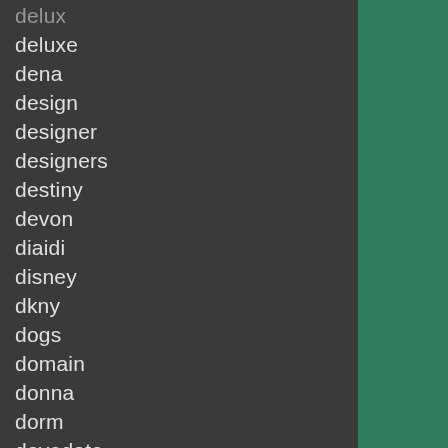delux
deluxe
dena
design
designer
designers
destiny
devon
diaidi
disney
dkny
dogs
domain
donna
dorm
dovedote
downluxe
downton
dream